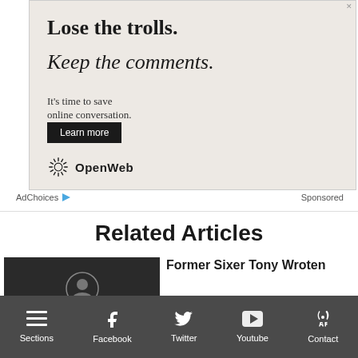[Figure (other): OpenWeb advertisement banner with beige background. Headline: 'Lose the trolls. Keep the comments.' Subtext: 'It's time to save online conversation.' Button: 'Learn more'. OpenWeb logo at bottom left.]
AdChoices Sponsored
Related Articles
[Figure (photo): Dark thumbnail image for article about Former Sixer Tony Wroten]
Former Sixer Tony Wroten
Sections Facebook Twitter Youtube Contact